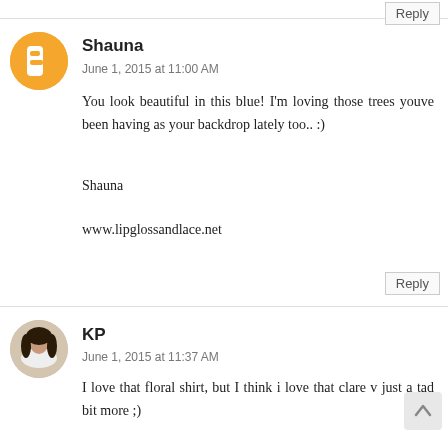Reply
Shauna
June 1, 2015 at 11:00 AM
You look beautiful in this blue! I'm loving those trees youve been having as your backdrop lately too.. :)
Shauna
www.lipglossandlace.net
Reply
KP
June 1, 2015 at 11:37 AM
I love that floral shirt, but I think i love that clare v just a tad bit more ;)